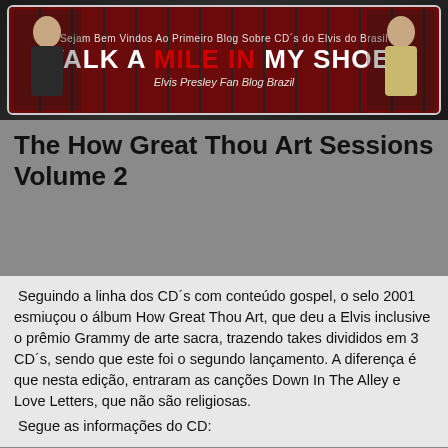[Figure (illustration): Banner for 'Walk A Mile In My Shoes' Elvis Presley Fan Blog Brazil, with text 'Sejam Bem Vindos Ao Primeiro Blog Sobre CD's do Elvis do Brasil' at top, large stylized title text, and 'Elvis Presley Fan Blog Brazil' at bottom. Images of Elvis on left and right sides.]
The How Great Thou Art Sessions Volume 2
Seguindo a linha dos CD´s com conteúdo gospel, o selo 2001 esmiuçou o álbum How Great Thou Art, que deu a Elvis inclusive o prêmio Grammy de arte sacra, trazendo takes divididos em 3 CD´s, sendo que este foi o segundo lançamento. A diferença é que nesta edição, entraram as canções Down In The Alley e Love Letters, que não são religiosas.
Segue as informações do CD: